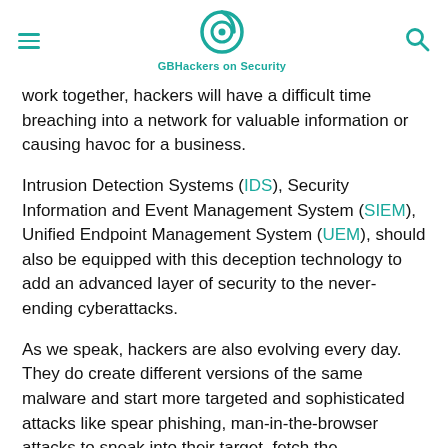GBHackers on Security
work together, hackers will have a difficult time breaching into a network for valuable information or causing havoc for a business.
Intrusion Detection Systems (IDS), Security Information and Event Management System (SIEM), Unified Endpoint Management System (UEM), should also be equipped with this deception technology to add an advanced layer of security to the never-ending cyberattacks.
As we speak, hackers are also evolving every day. They do create different versions of the same malware and start more targeted and sophisticated attacks like spear phishing, man-in-the-browser attacks to sneak into their target, fetch the